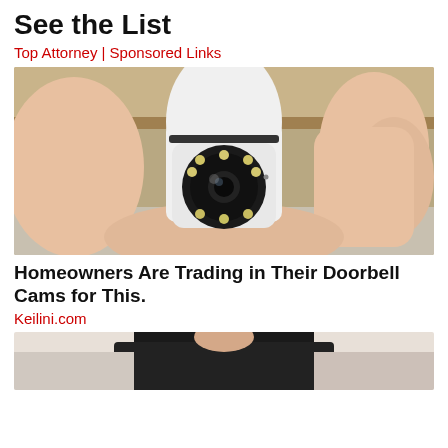See the List
Top Attorney | Sponsored Links
[Figure (photo): A hand holding a small white bullet-shaped security camera with a circular lens and LED ring lights]
Homeowners Are Trading in Their Doorbell Cams for This.
Keilini.com
[Figure (photo): Partial view of a person wearing a black shirt, cropped at the bottom of the page]